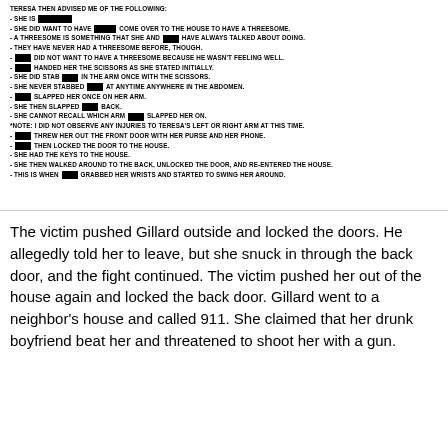TERESA THEN ADVISED ME OF THE FOLLOWING:
- SHE IS [REDACTED]
- SHE DID WANT TO HAVE [REDACTED] COME OVER TO THE HOUSE TO HAVE A THREESOME.
- A THREESOME IS SOMETHING THAT SHE AND [REDACTED] HAVE ALWAYS TALKED ABOUT DOING.
- THEY HAVE NEVER HAD A THREESOME BEFORE, THOUGH.
- [REDACTED] DID NOT WANT TO HAVE A THREESOME BECAUSE HE WASN'T FEELING WELL.
- [REDACTED] HANDED HER THE SCISSORS AS SHE STATED INITIALLY.
- SHE DID STAB [REDACTED] IN THE ARM ONCE WITH THE SCISSORS.
- SHE NEVER STABBED [REDACTED] AT ANYTIME ANYWHERE IN THE ABDOMEN.
- [REDACTED] SLAPPED HER ONCE ON HER ARM.
- SHE THEN SLAPPED [REDACTED] BACK.
- SHE CANNOT RECALL WHICH ARM [REDACTED] SLAPPED HER ON.
*NOTE: I DID NOT OBSERVE ANY INJURIES TO TERESA'S LEFT OR RIGHT ARM AT THIS TIME.
- [REDACTED] THREW HER OUT THE FRONT DOOR WITH HER PURSE AND HER PHONE.
- [REDACTED] THEN LOCKED THE DOOR TO THE HOUSE.
- SHE HAD THE KEYS TO THE HOUSE.
- SHE THEN WALKED AROUND TO THE BACK, UNLOCKED THE DOOR, AND RE-ENTERED THE HOUSE.
- THIS IS WHEN [REDACTED] GRABBED HER WRISTS AND STARTED TO SWING HER AROUND.
The victim pushed Gillard outside and locked the doors. He allegedly told her to leave, but she snuck in through the back door, and the fight continued. The victim pushed her out of the house again and locked the back door. Gillard went to a neighbor's house and called 911. She claimed that her drunk boyfriend beat her and threatened to shoot her with a gun.